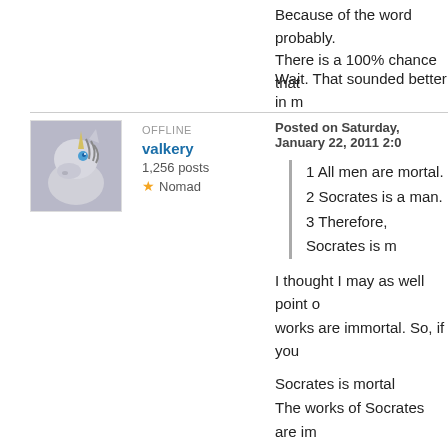Because of the word probably. There is a 100% chance that
Wait. That sounded better in m
[Figure (illustration): Avatar of user valkery: a stylized unicorn/horse head with blue eye on gray background]
OFFLINE
valkery
1,256 posts
★ Nomad
Posted on Saturday, January 22, 2011 2:0
1 All men are mortal.
2 Socrates is a man.
3 Therefore, Socrates is m
I thought I may as well point o works are immortal. So, if you
Socrates is mortal
The works of Socrates are im
Therefore, the name of Socra
It contradicts your statement t Socrates is immortal. It is vali false, since Socrates the man logic is also sound, because